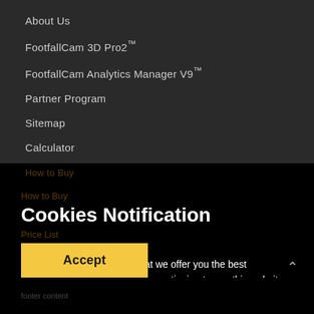About Us
FootfallCam 3D Pro2™
FootfallCam Analytics Manager V9™
Partner Program
Sitemap
Calculator
Download
Cookies Notification
We use cookies to ensure that we offer you the best experience on our website. By continuing to use this website, you consent to the use of cookies.
Accept